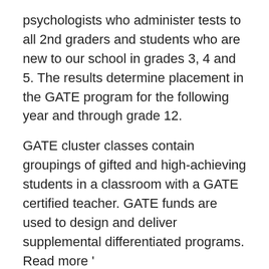psychologists who administer tests to all 2nd graders and students who are new to our school in grades 3, 4 and 5. The results determine placement in the GATE program for the following year and through grade 12.
GATE cluster classes contain groupings of gifted and high-achieving students in a classroom with a GATE certified teacher. GATE funds are used to design and deliver supplemental differentiated programs. Read more '
Instrumental Music
A district-sponsored program brings an instrumental music instructor to the school twice a week to give lessons to interested 4th and 5th